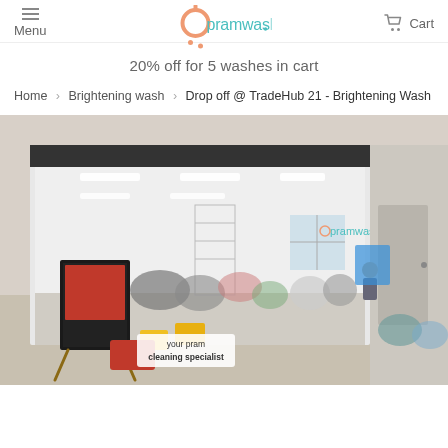Menu | pramwash logo | Cart
20% off for 5 washes in cart
Home > Brightening wash > Drop off @ TradeHub 21 - Brightening Wash
[Figure (photo): Interior of pramwash facility at TradeHub 21 showing prams and strollers inside a large warehouse-style space with the pramwash logo on the wall and a sandwich board sign in the foreground. An overlay reads 'your pram cleaning specialist'.]